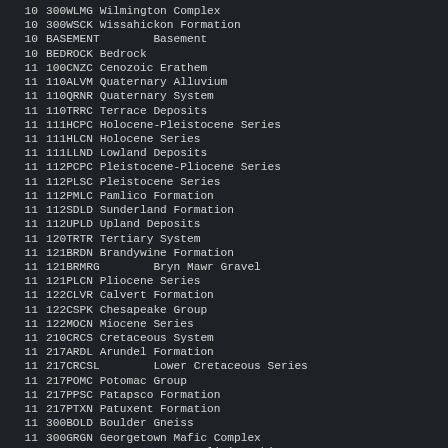| ID | Code and Name |
| --- | --- |
| 10 | 300WLMG Wilmington Complex |
| 10 | 300WSCK Wissahickon Formation |
| 10 | BASEMENT        Basement |
| 10 | BEDROCK Bedrock |
| 11 | 100CNZC Cenozoic Erathem |
| 11 | 110ALVM Quaternary Alluvium |
| 11 | 110QRNR Quaternary System |
| 11 | 110TRRC Terrace Deposits |
| 11 | 111HCPC Holocene-Pleistocene Series |
| 11 | 111HLCN Holocene Series |
| 11 | 111LLND Lowland Deposits |
| 11 | 112PCPC Pleistocene-Pliocene Series |
| 11 | 112PLSC Pleistocene Series |
| 11 | 112PMLC Pamlico Formation |
| 11 | 112SDLD Sunderland Formation |
| 11 | 112UPLD Upland Deposits |
| 11 | 120TRTR Tertiary System |
| 11 | 121BRDN Brandywine Formation |
| 11 | 121BRMRG        Bryn Mawr Gravel |
| 11 | 121PLCN Pliocene Series |
| 11 | 122CLVR Calvert Formation |
| 11 | 122CSPK Chesapeake Group |
| 11 | 122MOCN Miocene Series |
| 11 | 210CRCS Cretaceous System |
| 11 | 217ARDL Arundel Formation |
| 11 | 217CRCSL        Lower Cretaceous Series |
| 11 | 217POMC Potomac Group |
| 11 | 217PPSC Patapsco Formation |
| 11 | 217PTXN Patuxent Formation |
| 11 | 300BOLD Boulder Gneiss |
| 11 | 300GRGN Georgetown Mafic Complex |
| 11 | 300LPELC        Lower Pelitic Schist |